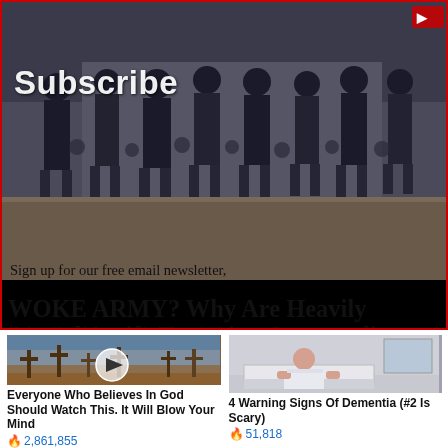[Figure (photo): Photo of a group of people in dark clothing, some in tactical/military-style gear, standing in a row outdoors. A 'Subscribe' text overlay is visible on the image.]
Sign up for our free email newsletter, and we'll make sure to keep you in the loop.
WOKE ARMY? Why Are Heavily Armed Antifa Terrorists Surrounding Drag Queen Event With Kids? [VIDEO]
First Name
Promoted ×
[Figure (photo): Photo of a cemetery with crosses and a video play button overlay. Link: 'Everyone Who Believes In God Should Watch This. It Will Blow Your Mind'. Count: 2,861,855]
[Figure (photo): Photo of an elderly person sitting on a bed. Link: '4 Warning Signs Of Dementia (#2 Is Scary)'. Count: 51,818]
Everyone Who Believes In God Should Watch This. It Will Blow Your Mind
🔥 2,861,855
4 Warning Signs Of Dementia (#2 Is Scary)
🔥 51,818